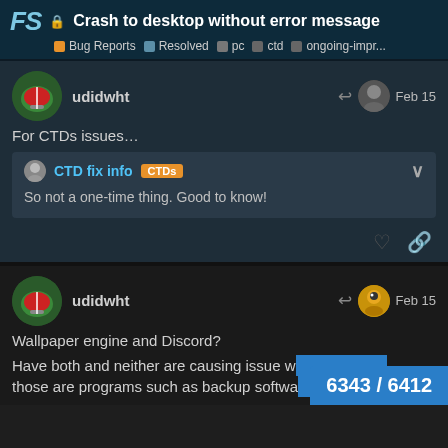FS 🔒 Crash to desktop without error message | Bug Reports | Resolved | pc | ctd | ongoing-impr...
udidwht  Feb 15
For CTDs issues…
CTD fix info  CTDs
So not a one-time thing. Good to know!
udidwht  Feb 15
Wallpaper engine and Discord?
Have both and neither are causing issue w... those are programs such as backup softwa...
6343 / 6412